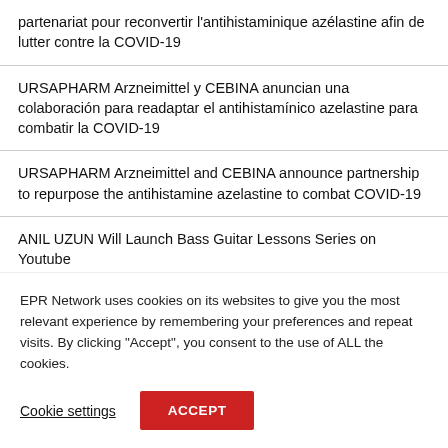partenariat pour reconvertir l'antihistaminique azélastine afin de lutter contre la COVID-19
URSAPHARM Arzneimittel y CEBINA anuncian una colaboración para readaptar el antihistamínico azelastine para combatir la COVID-19
URSAPHARM Arzneimittel and CEBINA announce partnership to repurpose the antihistamine azelastine to combat COVID-19
ANIL UZUN Will Launch Bass Guitar Lessons Series on Youtube
EPR Network uses cookies on its websites to give you the most relevant experience by remembering your preferences and repeat visits. By clicking "Accept", you consent to the use of ALL the cookies.
Cookie settings
ACCEPT